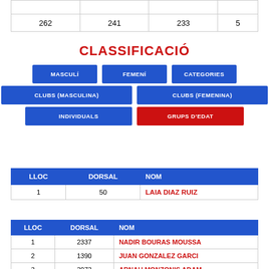|  |  |  |  |
| --- | --- | --- | --- |
|  |  |  |  |
| 262 | 241 | 233 | 5 |
CLASSIFICACIÓ
[Figure (infographic): Navigation button grid with options: MASCULÍ, FEMENÍ, CATEGORIES (row 1); CLUBS (MASCULINA), CLUBS (FEMENINA) (row 2); INDIVIDUALS, GRUPS D'EDAT (row 3). GRUPS D'EDAT is highlighted in red, others in blue.]
| LLOC | DORSAL | NOM |
| --- | --- | --- |
| 1 | 50 | LAIA DIAZ RUIZ |
| LLOC | DORSAL | NOM |
| --- | --- | --- |
| 1 | 2337 | NADIR BOURAS MOUSSA |
| 2 | 1390 | JUAN GONZALEZ GARCI |
| 3 | 3073 | ARNAU MONZONIS ADAM |